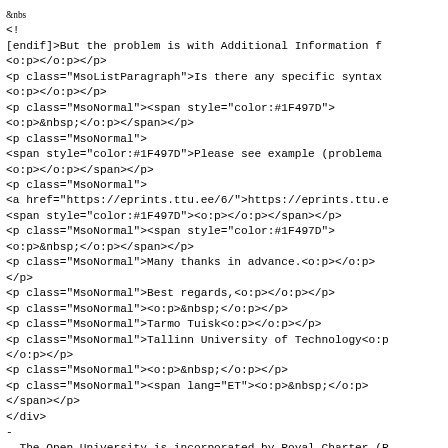<span style="font:7.0pt &quot;Times New Roman&quot;">&nbs
</span></span><!
[endif]>But the problem is with Additional Information f
<o:p></o:p></p>
<p class="MsoListParagraph">Is there any specific syntax
<o:p></o:p></p>
<p class="MsoNormal"><span style="color:#1F497D">
<o:p>&nbsp;</o:p></span></p>
<p class="MsoNormal">
<span style="color:#1F497D">Please see example (problema
<o:p></o:p></span></p>
<p class="MsoNormal">
<a href="https://eprints.ttu.ee/6/">https://eprints.ttu.e
<span style="color:#1F497D"><o:p></o:p></span></p>
<p class="MsoNormal"><span style="color:#1F497D">
<o:p>&nbsp;</o:p></span></p>
<p class="MsoNormal">Many thanks in advance.<o:p></o:p>
</p>
<p class="MsoNormal">Best regards,<o:p></o:p></p>
<p class="MsoNormal"><o:p>&nbsp;</o:p></p>
<p class="MsoNormal">Tarmo Tuisk<o:p></o:p></p>
<p class="MsoNormal">Tallinn University of Technology<o:p
</o:p></p>
<p class="MsoNormal"><o:p>&nbsp;</o:p></p>
<p class="MsoNormal"><span lang="ET"><o:p>&nbsp;</o:p>
</span></p>
</div>
-
- The Open University is incorporated by Royal Charter (R
  secondary activity of credit broking.